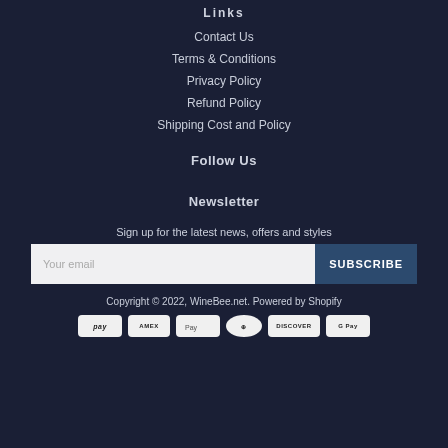Links
Contact Us
Terms & Conditions
Privacy Policy
Refund Policy
Shipping Cost and Policy
Follow Us
Newsletter
Sign up for the latest news, offers and styles
Your email | SUBSCRIBE
Copyright © 2022, WineBee.net. Powered by Shopify
[Figure (other): Payment method icons: pay, American Express, Apple Pay, Diners Club, Discover, Google Pay]